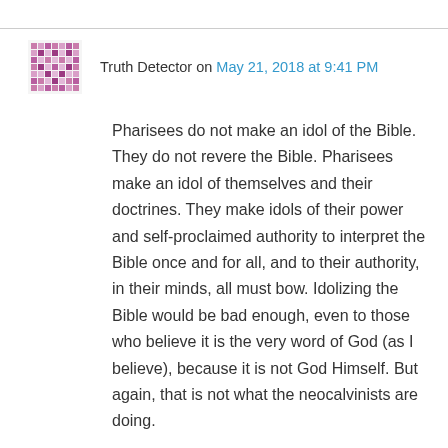Truth Detector on May 21, 2018 at 9:41 PM
Pharisees do not make an idol of the Bible. They do not revere the Bible. Pharisees make an idol of themselves and their doctrines. They make idols of their power and self-proclaimed authority to interpret the Bible once and for all, and to their authority, in their minds, all must bow. Idolizing the Bible would be bad enough, even to those who believe it is the very word of God (as I believe), because it is not God Himself. But again, that is not what the neocalvinists are doing.
Ultimately, I believe, they’re more about worshipping their cult heroes, their own grand